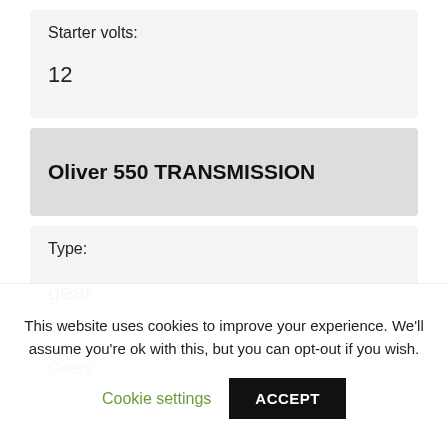| Field | Value |
| --- | --- |
| Starter volts: | 12 |
Oliver 550 TRANSMISSION
| Field | Value |
| --- | --- |
| Type: | gear |
Gears:
This website uses cookies to improve your experience. We'll assume you're ok with this, but you can opt-out if you wish.
Cookie settings
ACCEPT